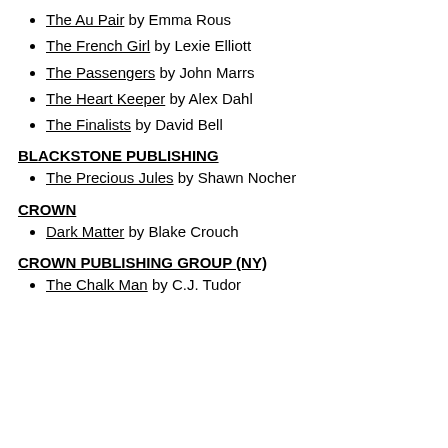The Au Pair by Emma Rous
The French Girl by Lexie Elliott
The Passengers by John Marrs
The Heart Keeper by Alex Dahl
The Finalists by David Bell
BLACKSTONE PUBLISHING
The Precious Jules by Shawn Nocher
CROWN
Dark Matter by Blake Crouch
CROWN PUBLISHING GROUP (NY)
The Chalk Man by C.J. Tudor